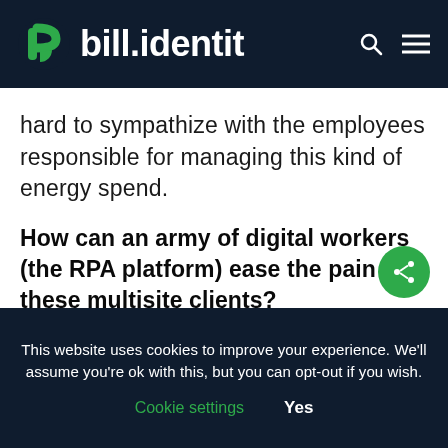bill.identit
hard to sympathize with the employees responsible for managing this kind of energy spend.
How can an army of digital workers (the RPA platform) ease the pain for these multisite clients?
This website uses cookies to improve your experience. We'll assume you're ok with this, but you can opt-out if you wish. Cookie settings Yes